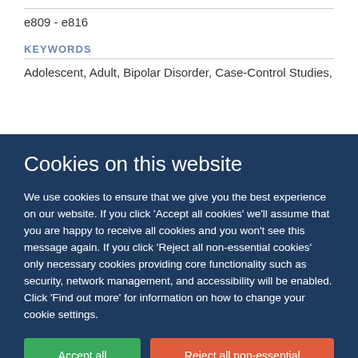e809 - e816
KEYWORDS
Adolescent, Adult, Bipolar Disorder, Case-Control Studies,
Cookies on this website
We use cookies to ensure that we give you the best experience on our website. If you click 'Accept all cookies' we'll assume that you are happy to receive all cookies and you won't see this message again. If you click 'Reject all non-essential cookies' only necessary cookies providing core functionality such as security, network management, and accessibility will be enabled. Click 'Find out more' for information on how to change your cookie settings.
Accept all cookies
Reject all non-essential cookies